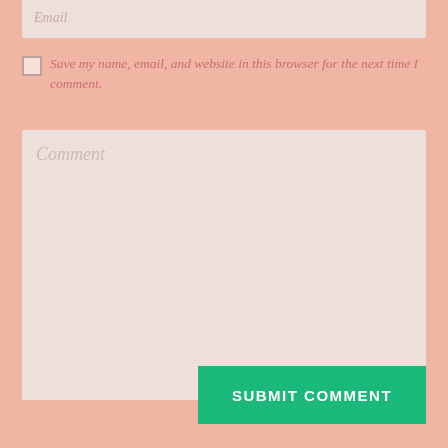Email
Save my name, email, and website in this browser for the next time I comment.
Comment
SUBMIT COMMENT